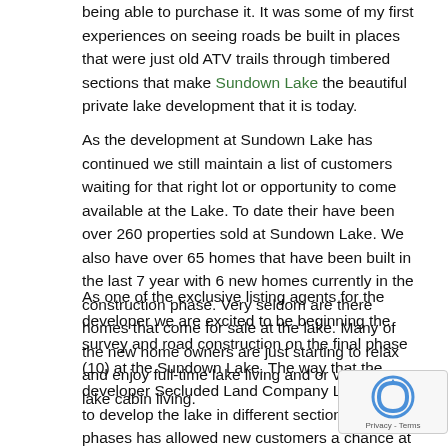being able to purchase it. It was some of my first experiences on seeing roads be built in places that were just old ATV trails through timbered sections that make Sundown Lake the beautiful private lake development that it is today.
As the development at Sundown Lake has continued we still maintain a list of customers waiting for that right lot or opportunity to come available at the Lake. To date their have been over 260 properties sold at Sundown Lake. We also have over 65 homes that have been built in the last 7 year with 6 new homes currently in the construction phase. Very seldom are there homes that come for sale at the lake. Many of the new home owners are just starting to relax and enjoy full-time lake living and or vacation lake cabin living.
As one of the exclusive listing agents for the developer we are excited to be beginning the survey and road construction on the final phase (10) at the Sundown Lake. The way that the developer Secluded Land Company LLC choose to develop the lake in different sections or phases has allowed new customers a chance at some of the best lots in each section. As well as keeping our existing customer base in mind for the opportunity to purchase best lots in each section. If you have an interest in property at Sundown Lake please...